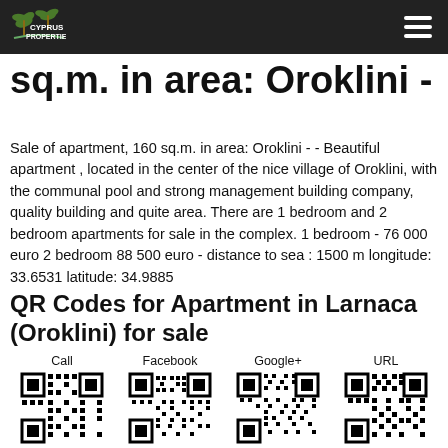Cyprus Properties
sq.m. in area: Oroklini -
Sale of apartment, 160 sq.m. in area: Oroklini - - Beautiful apartment , located in the center of the nice village of Oroklini, with the communal pool and strong management building company, quality building and quite area. There are 1 bedroom and 2 bedroom apartments for sale in the complex. 1 bedroom - 76 000 euro 2 bedroom 88 500 euro - distance to sea : 1500 m longitude: 33.6531 latitude: 34.9885
QR Codes for Apartment in Larnaca (Oroklini) for sale
Call
Facebook
Google+
URL
[Figure (other): QR code for Call]
[Figure (other): QR code for Facebook]
[Figure (other): QR code for Google+]
[Figure (other): QR code for URL]